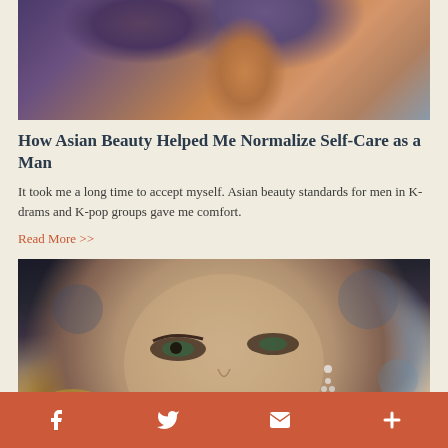[Figure (photo): Partial view of a painting showing a stylized face with orange/brown skin tones and dark purple/blue background]
How Asian Beauty Helped Me Normalize Self-Care as a Man
It took me a long time to accept myself. Asian beauty standards for men in K-drams and K-pop groups gave me comfort.
Read More >>
[Figure (photo): Close-up portrait photo of a young woman with green eyes, dramatic makeup, hair pulled back, wearing a chandelier earring]
Social sharing bar with Facebook, Twitter, Email, and More icons